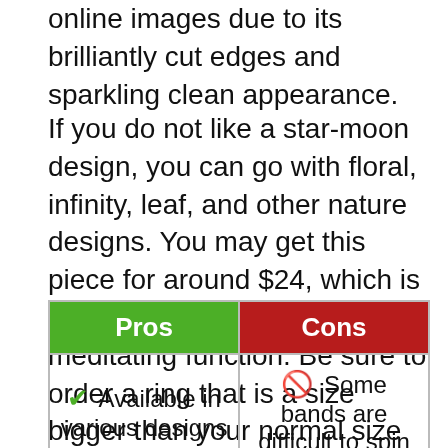online images due to its brilliantly cut edges and sparkling clean appearance.
If you do not like a star-moon design, you can go with floral, infinity, leaf, and other nature designs. You may get this piece for around $24, which is not bad for its fashion and meditating function. Be sure to order a ring that is a size bigger than your normal size for the best fit.
| Pros | Cons |
| --- | --- |
| ✓ Available in various designs | 🚫 Some bands are difficult to spin |
| ✓ It does not tarnish quickly | 🚫 The size is small |